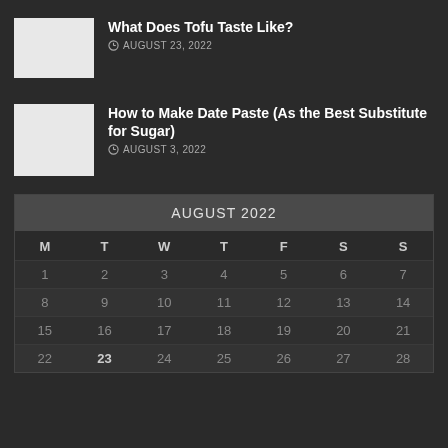[Figure (photo): Thumbnail image placeholder for 'What Does Tofu Taste Like?' article]
What Does Tofu Taste Like?
AUGUST 23, 2022
[Figure (photo): Thumbnail image placeholder for 'How to Make Date Paste (As the Best Substitute for Sugar)' article]
How to Make Date Paste (As the Best Substitute for Sugar)
AUGUST 3, 2022
| M | T | W | T | F | S | S |
| --- | --- | --- | --- | --- | --- | --- |
| 1 | 2 | 3 | 4 | 5 | 6 | 7 |
| 8 | 9 | 10 | 11 | 12 | 13 | 14 |
| 15 | 16 | 17 | 18 | 19 | 20 | 21 |
| 22 | 23 | 24 | 25 | 26 | 27 | 28 |